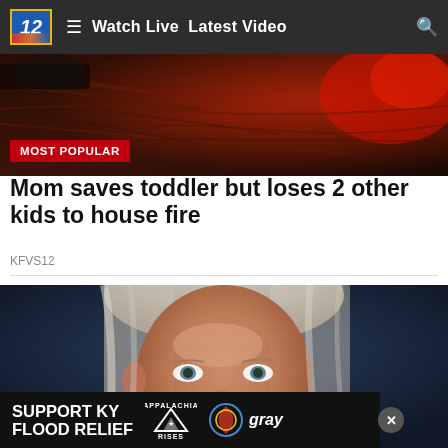12  ≡  Watch Live  Latest Video  🔍
[Figure (photo): Dark reddish-brown textured surface, possibly burned wood or fire scene, with red/orange light visible in upper right corner]
MOST POPULAR
Mom saves toddler but loses 2 other kids to house fire
KFVS12
[Figure (photo): Close-up portrait of a blonde woman with blue eyes against a dark blue background]
SUPPORT KY FLOOD RELIEF  APPALACHIA RISES  gray